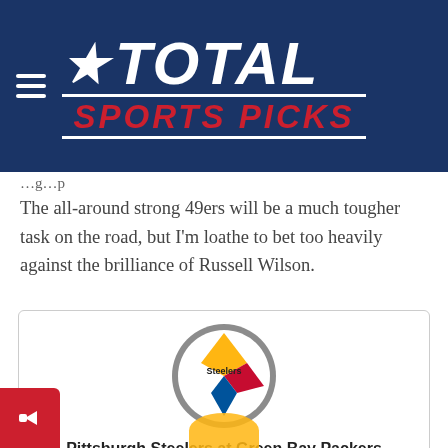★ TOTAL SPORTS PICKS
The all-around strong 49ers will be a much tougher task on the road, but I'm loathe to bet too heavily against the brilliance of Russell Wilson.
[Figure (logo): Pittsburgh Steelers logo — circular with grey ring, containing gold, red, and blue diamond shapes with 'Steelers' text]
Pittsburgh Steelers at Green Bay Packers
Sunday October 3rd, 4.25pm (ET)
Packers -6.5 (2.2/2)